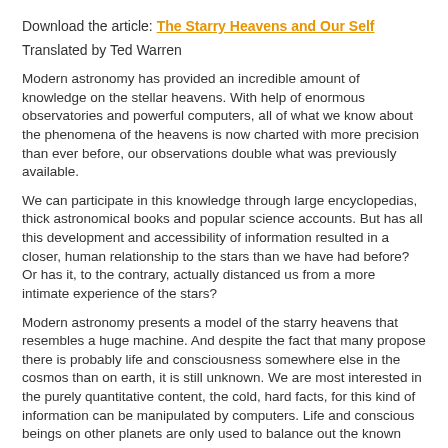Download the article: The Starry Heavens and Our Self
Translated by Ted Warren
Modern astronomy has provided an incredible amount of knowledge on the stellar heavens. With help of enormous observatories and powerful computers, all of what we know about the phenomena of the heavens is now charted with more precision than ever before, our observations double what was previously available.
We can participate in this knowledge through large encyclopedias, thick astronomical books and popular science accounts. But has all this development and accessibility of information resulted in a closer, human relationship to the stars than we have had before? Or has it, to the contrary, actually distanced us from a more intimate experience of the stars?
Modern astronomy presents a model of the starry heavens that resembles a huge machine. And despite the fact that many propose there is probably life and consciousness somewhere else in the cosmos than on earth, it is still unknown. We are most interested in the purely quantitative content, the cold, hard facts, for this kind of information can be manipulated by computers. Life and conscious beings on other planets are only used to balance out the known facts in all kinds of fantasies in the comics and in novels, just as distant from reality as the knowledge that we now have concerning the starry heavens is dead.
Read more: Waldorf Journal Project 9: The Starry Heavens and Our Self